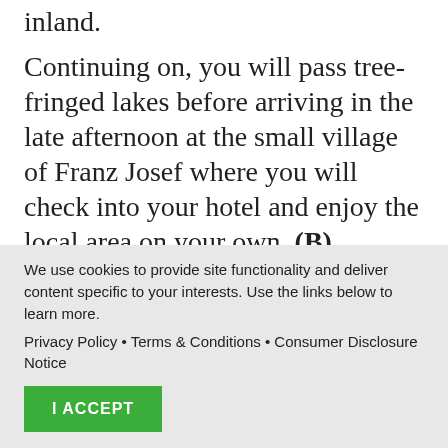inland.
Continuing on, you will pass tree-fringed lakes before arriving in the late afternoon at the small village of Franz Josef where you will check into your hotel and enjoy the local area on your own. (B)
Monday, May 15 -- Franz Josef
The German explorer, Julius von Haast, named this glacier
We use cookies to provide site functionality and deliver content specific to your interests. Use the links below to learn more.
Privacy Policy • Terms & Conditions • Consumer Disclosure Notice
I ACCEPT